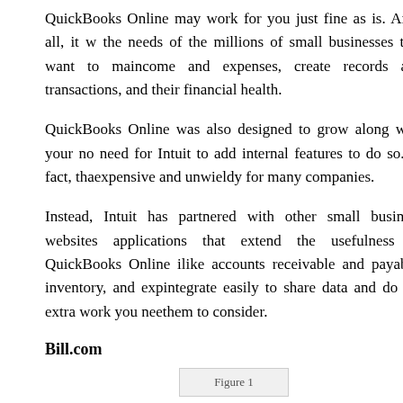QuickBooks Online may work for you just fine as is. After all, it was designed to meet the needs of the millions of small businesses that want to manage their income and expenses, create records and transactions, and monitor their financial health.
QuickBooks Online was also designed to grow along with your business. There's no need for Intuit to add internal features to do so. In fact, that would make it expensive and unwieldy for many companies.
Instead, Intuit has partnered with other small business websites to offer applications that extend the usefulness of QuickBooks Online in specific areas like accounts receivable and payable, inventory, and expenses. These apps integrate easily to share data and do the extra work you need. Here are some for them to consider.
Bill.com
[Figure (photo): Figure 1 placeholder image]
Bill.com automates your accounts receivable and payable processes, including electronic billing and payment, as well as multiple app...